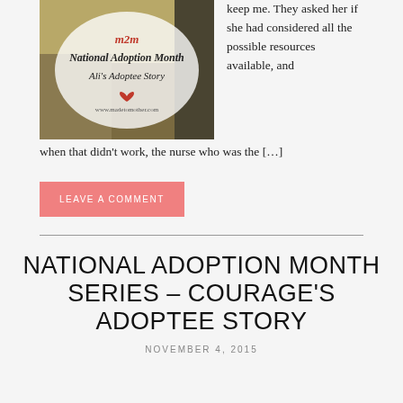[Figure (photo): Blog post thumbnail image for National Adoption Month - Ali's Adoptee Story, with m2m logo and www.madetomother.com watermark, showing a person outdoors with autumn leaves]
keep me. They asked her if she had considered all the possible resources available, and when that didn't work, the nurse who was the […]
LEAVE A COMMENT
NATIONAL ADOPTION MONTH SERIES – COURAGE'S ADOPTEE STORY
NOVEMBER 4, 2015